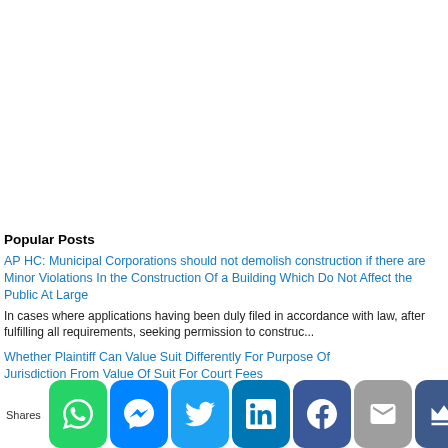Popular Posts
AP HC: Municipal Corporations should not demolish construction if there are Minor Violations In the Construction Of a Building Which Do Not Affect the Public At Large
In cases where applications having been duly filed in accordance with law, after fulfilling all requirements, seeking permission to construc...
Whether Plaintiff Can Value Suit Differently For Purpose Of Jurisdiction From Value Of Suit For Court Fees